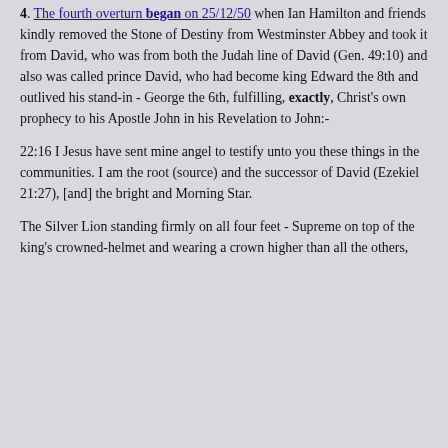4. The fourth overturn began on 25/12/50 when Ian Hamilton and friends kindly removed the Stone of Destiny from Westminster Abbey and took it from David, who was from both the Judah line of David (Gen. 49:10) and also was called prince David, who had become king Edward the 8th and outlived his stand-in - George the 6th, fulfilling, exactly, Christ's own prophecy to his Apostle John in his Revelation to John:-
22:16 I Jesus have sent mine angel to testify unto you these things in the communities. I am the root (source) and the successor of David (Ezekiel 21:27), [and] the bright and Morning Star.
The Silver Lion standing firmly on all four feet - Supreme on top of the king's crowned-helmet and wearing a crown higher than all the others, including Christ's, the Right-ful King of Israel -